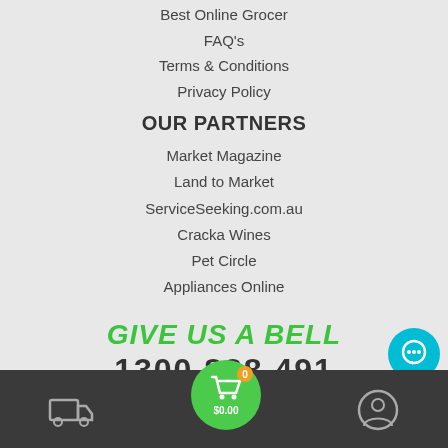Best Online Grocer
FAQ's
Terms & Conditions
Privacy Policy
OUR PARTNERS
Market Magazine
Land to Market
ServiceSeeking.com.au
Cracka Wines
Pet Circle
Appliances Online
GIVE US A BELL
1300 828 491
Harris Farm Help Centre
[Figure (infographic): Bottom navigation bar with delivery truck icon, green shopping cart bubble with 0 items and $0.00 label, and user profile icon. A teal chat bubble icon on the right side. Social media icons (Facebook, email, location) partially visible above the bar.]